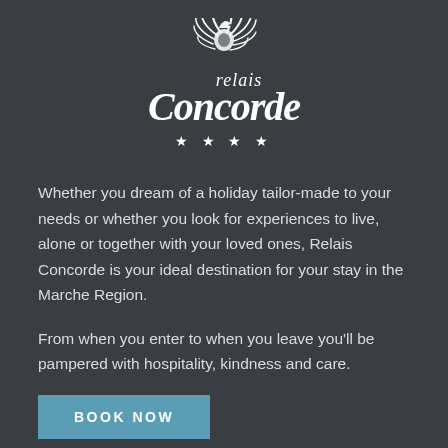[Figure (logo): Relais Concorde hotel logo with decorative swirl/feather emblem above script text reading 'relais Concorde' and four stars below]
Whether you dream of a holiday tailor-made to your needs or whether you look for experiences to live, alone or together with your loved ones, Relais Concorde is your ideal destination for your stay in the Marche Region.
From when you enter to when you leave you'll be pampered with hospitality, kindness and care.
BOOK NOW